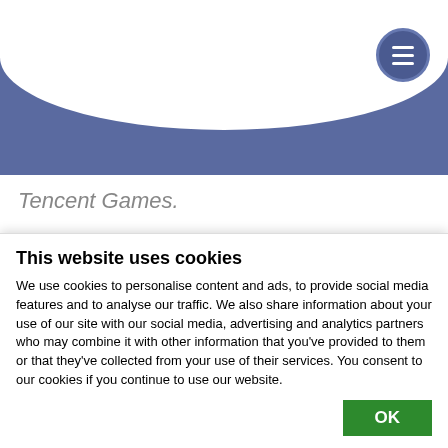[Figure (logo): MariaDB Foundation logo with seal mascot and text 'MariaDB Foundation']
Tencent Games.
MariaDB and MySQL are widely used in many Tencent business groups, and Tencent also has it's own versions of MySQL (called TenDB, TDSQL and TXSQL).
The storage requirements of game business keep
This website uses cookies
We use cookies to personalise content and ads, to provide social media features and to analyse our traffic. We also share information about your use of our site with our social media, advertising and analytics partners who may combine it with other information that you've provided to them or that they've collected from your use of their services. You consent to our cookies if you continue to use our website.